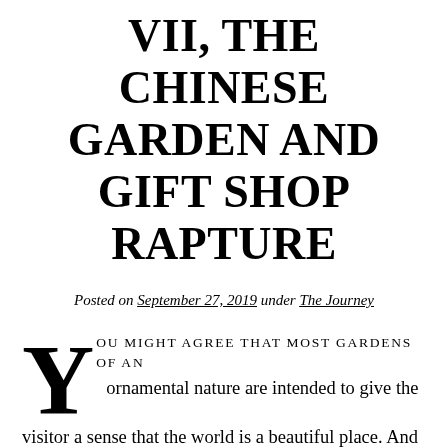VII, THE CHINESE GARDEN AND GIFT SHOP RAPTURE
Posted on September 27, 2019 under The Journey
YOU MIGHT AGREE THAT MOST GARDENS OF AN ornamental nature are intended to give the visitor a sense that the world is a beautiful place. And under the auspices of human ministration, the chaos of wild nature is tamed and framed into a kind of heaven on earth. We could say it is an attempt at creating transcendence. For if there is any place we